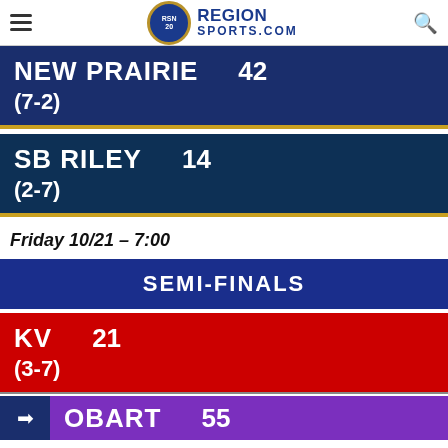Region Sports.Com
NEW PRAIRIE  42
(7-2)
SB RILEY  14
(2-7)
Friday 10/21 – 7:00
SEMI-FINALS
KV  21
(3-7)
OBART  55